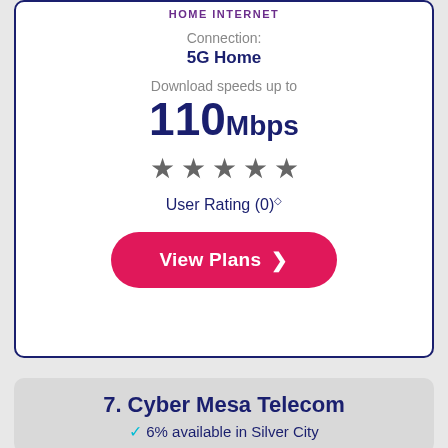HOME INTERNET
Connection:
5G Home
Download speeds up to
110Mbps
[Figure (other): Five filled star icons representing a rating display]
User Rating (0)◇
View Plans ›
7. Cyber Mesa Telecom
✓ 6% available in Silver City